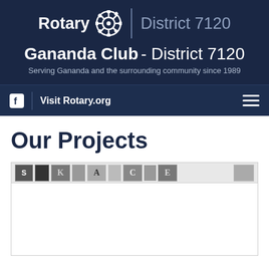Rotary District 7120
Gananda Club - District 7120
Serving Gananda and the surrounding community since 1989
Visit Rotary.org
Our Projects
[Figure (screenshot): Partially visible monochrome image banner with letter tiles spelling out text, likely a collage or newspaper clipping style image at the top of the Our Projects section.]